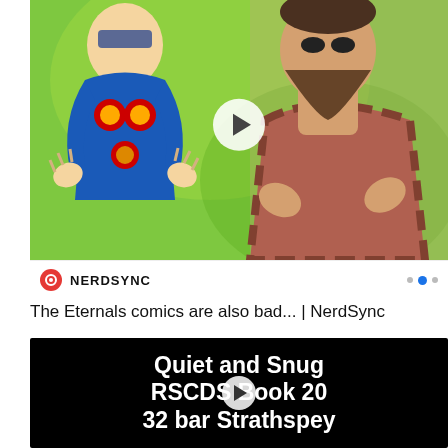[Figure (screenshot): NerdSync YouTube video thumbnail showing a comic book character (Eternals) on the left with colorful costume on a green background, and a bearded man on the right, with a play button in the center and NERDSYNC branding bar at the bottom]
The Eternals comics are also bad... | NerdSync
[Figure (screenshot): Black video thumbnail with white bold text reading 'Quiet and Snug RSCDS Book 20 32 bar Strathspey' and a play button overlay]